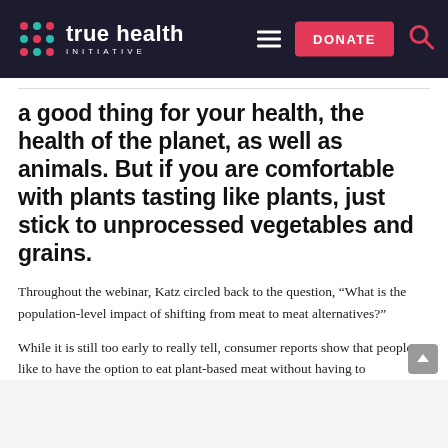true health INITIATIVE — DONATE
a good thing for your health, the health of the planet, as well as animals. But if you are comfortable with plants tasting like plants, just stick to unprocessed vegetables and grains.
Throughout the webinar, Katz circled back to the question, “What is the population-level impact of shifting from meat to meat alternatives?”
While it is still too early to really tell, consumer reports show that people like to have the option to eat plant-based meat without having to